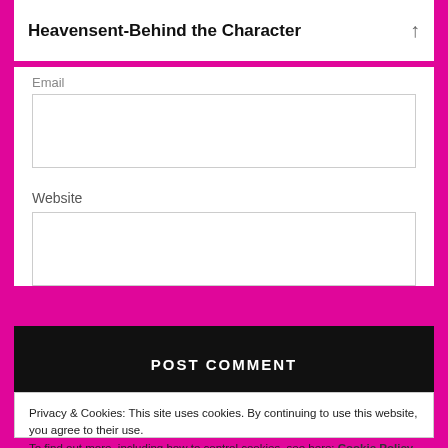Heavensent-Behind the Character
Email
Website
POST COMMENT
Privacy & Cookies: This site uses cookies. By continuing to use this website, you agree to their use.
To find out more, including how to control cookies, see here: Cookie Policy
Close and accept